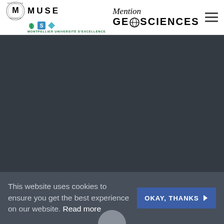[Figure (logo): MUSE Montpellier Université d'Excellence logo with circular seal and three small icons (leaf, S, diamond)]
Mention GeoSciences
[Figure (photo): Dark background image area (content not visible)]
This website uses cookies to ensure you get the best experience on our website. Read more